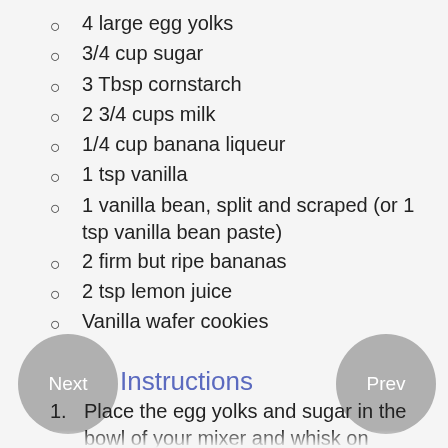4 large egg yolks
3/4 cup sugar
3 Tbsp cornstarch
2 3/4 cups milk
1/4 cup banana liqueur
1 tsp vanilla
1 vanilla bean, split and scraped (or 1 tsp vanilla bean paste)
2 firm but ripe bananas
2 tsp lemon juice
Vanilla wafer cookies
Instructions
1. Place the egg yolks and sugar in the bowl of your mixer and whisk on med-high for 5-7 minutes, until the mixture is a light lemony